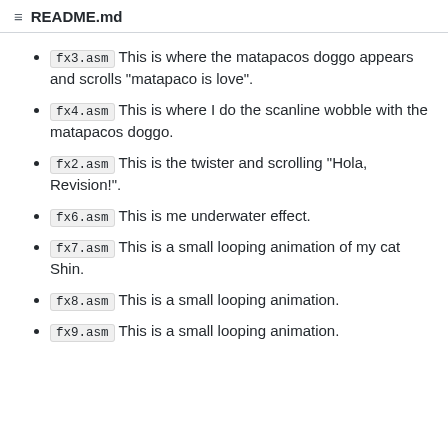README.md
fx3.asm This is where the matapacos doggo appears and scrolls "matapaco is love".
fx4.asm This is where I do the scanline wobble with the matapacos doggo.
fx2.asm This is the twister and scrolling "Hola, Revision!".
fx6.asm This is me underwater effect.
fx7.asm This is a small looping animation of my cat Shin.
fx8.asm This is a small looping animation.
fx9.asm This is a small looping animation.